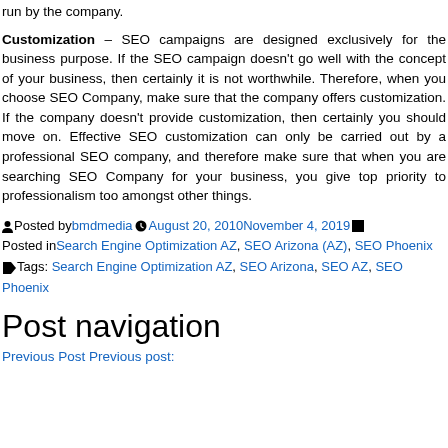run by the company.
Customization – SEO campaigns are designed exclusively for the business purpose. If the SEO campaign doesn't go well with the concept of your business, then certainly it is not worthwhile. Therefore, when you choose SEO Company, make sure that the company offers customization. If the company doesn't provide customization, then certainly you should move on. Effective SEO customization can only be carried out by a professional SEO company, and therefore make sure that when you are searching SEO Company for your business, you give top priority to professionalism too amongst other things.
Posted by bmdmedia August 20, 2010 November 4, 2019 Posted in Search Engine Optimization AZ, SEO Arizona (AZ), SEO Phoenix Tags: Search Engine Optimization AZ, SEO Arizona, SEO AZ, SEO Phoenix
Post navigation
Previous Post Previous post: